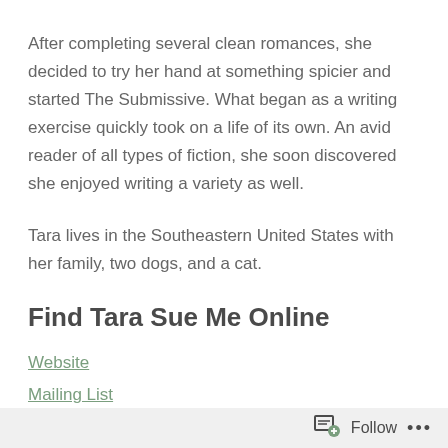After completing several clean romances, she decided to try her hand at something spicier and started The Submissive. What began as a writing exercise quickly took on a life of its own. An avid reader of all types of fiction, she soon discovered she enjoyed writing a variety as well.
Tara lives in the Southeastern United States with her family, two dogs, and a cat.
Find Tara Sue Me Online
Website
Mailing List
Goodreads
Follow ...